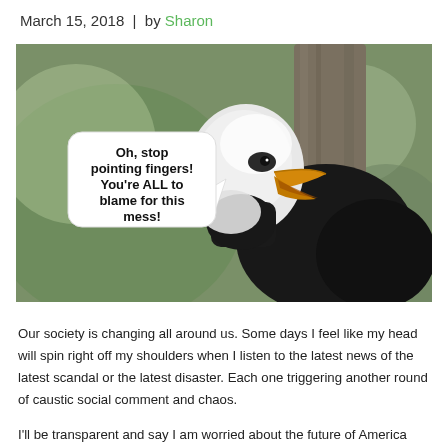March 15, 2018  |  by Sharon
[Figure (photo): A bald eagle with open beak facing left, with a speech bubble overlay reading: 'Oh, stop pointing fingers! You're ALL to blame for this mess!']
Our society is changing all around us. Some days I feel like my head will spin right off my shoulders when I listen to the latest news of the latest scandal or the latest disaster. Each one triggering another round of caustic social comment and chaos.
I'll be transparent and say I am worried about the future of America these days. You need to...